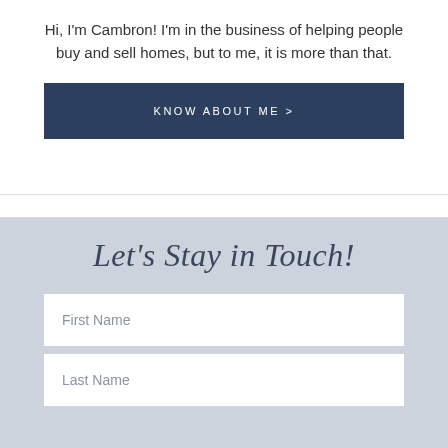Hi, I'm Cambron! I'm in the business of helping people buy and sell homes, but to me, it is more than that.
KNOW ABOUT ME >
Let's Stay in Touch!
First Name
Last Name